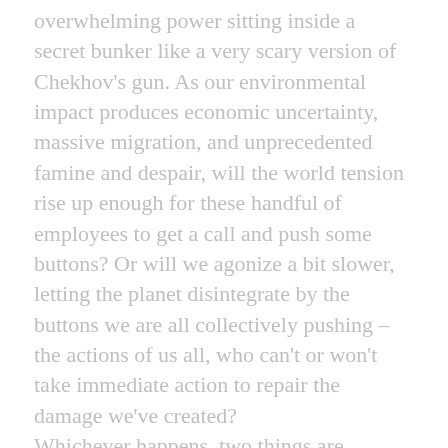overwhelming power sitting inside a secret bunker like a very scary version of Chekhov's gun. As our environmental impact produces economic uncertainty, massive migration, and unprecedented famine and despair, will the world tension rise up enough for these handful of employees to get a call and push some buttons? Or will we agonize a bit slower, letting the planet disintegrate by the buttons we are all collectively pushing –the actions of us all, who can't or won't take immediate action to repair the damage we've created? Whichever happens, two things are certain: one, the geological VHS video that shows the history of the planet will end abruptly regardless, as in geological times the difference between instant nuclear annihilation and the accelerated consequences of global warming is minimal, and two, nothing will